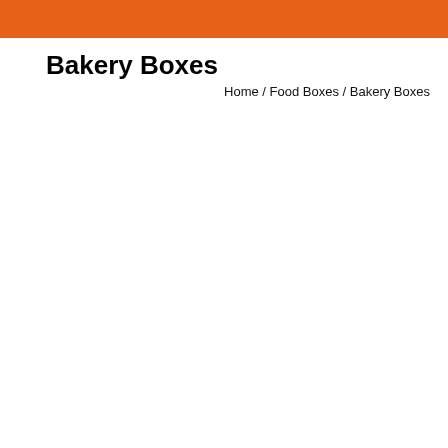Bakery Boxes
Home / Food Boxes / Bakery Boxes